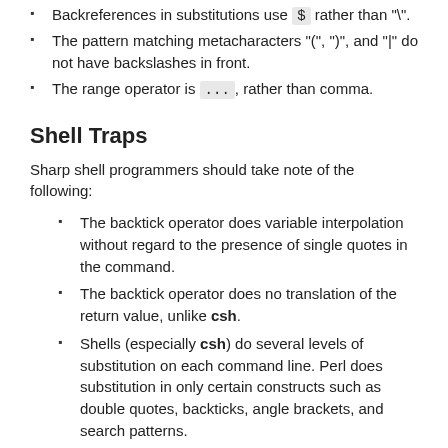Backreferences in substitutions use `$` rather than "\".
The pattern matching metacharacters "(", ")", and "|" do not have backslashes in front.
The range operator is ... , rather than comma.
Shell Traps
Sharp shell programmers should take note of the following:
The backtick operator does variable interpolation without regard to the presence of single quotes in the command.
The backtick operator does no translation of the return value, unlike csh.
Shells (especially csh) do several levels of substitution on each command line. Perl does substitution in only certain constructs such as double quotes, backticks, angle brackets, and search patterns.
Shells interpret scripts a little bit at a time. Perl